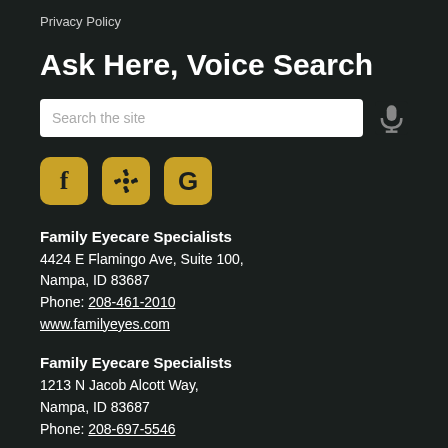Privacy Policy
Ask Here, Voice Search
[Figure (screenshot): Search input box with placeholder text 'Search the site' and a microphone icon to the right]
[Figure (logo): Social media icons: Facebook (f), Yelp (asterisk/flower), Google (G) — gold rounded square buttons]
Family Eyecare Specialists
4424 E Flamingo Ave, Suite 100,
Nampa, ID 83687
Phone: 208-461-2010
www.familyeyes.com
Family Eyecare Specialists
1213 N Jacob Alcott Way,
Nampa, ID 83687
Phone: 208-697-5546